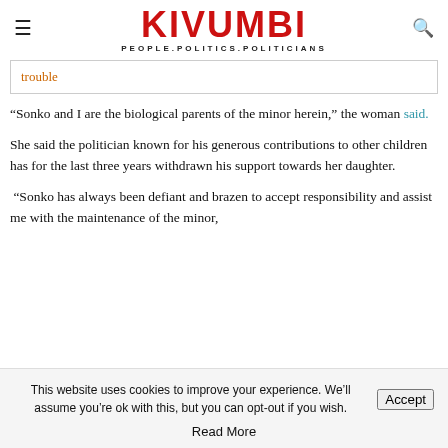KIVUMBI — PEOPLE.POLITICS.POLITICIANS
trouble
“Sonko and I are the biological parents of the minor herein,” the woman said.
She said the politician known for his generous contributions to other children has for the last three years withdrawn his support towards her daughter.
“Sonko has always been defiant and brazen to accept responsibility and assist me with the maintenance of the minor,
This website uses cookies to improve your experience. We’ll assume you’re ok with this, but you can opt-out if you wish.
Read More